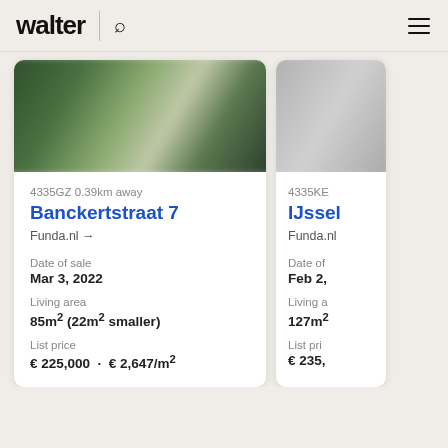walter
[Figure (photo): Blurred outdoor/garden photo for Banckertstraat 7 listing]
4335GZ 0.39km away
Banckertstraat 7
Funda.nl →
Date of sale
Mar 3, 2022
Living area
85m² (22m² smaller)
List price
€ 225,000  ·  € 2,647/m²
[Figure (photo): Blurred grey photo for IJssel listing (partially visible)]
4335KB
IJssel
Funda.nl
Date of
Feb 2,
Living area
127m²
List price
€ 235,